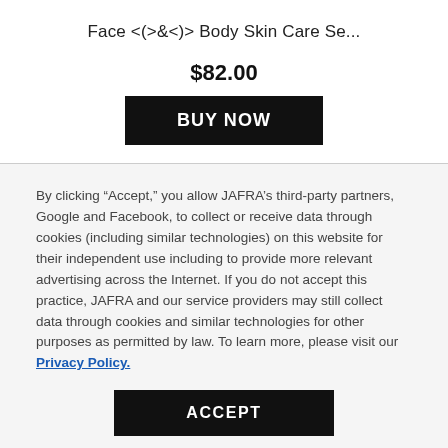Face <(>&<)> Body Skin Care Se...
$82.00
BUY NOW
By clicking “Accept,” you allow JAFRA’s third-party partners, Google and Facebook, to collect or receive data through cookies (including similar technologies) on this website for their independent use including to provide more relevant advertising across the Internet. If you do not accept this practice, JAFRA and our service providers may still collect data through cookies and similar technologies for other purposes as permitted by law. To learn more, please visit our Privacy Policy.
ACCEPT